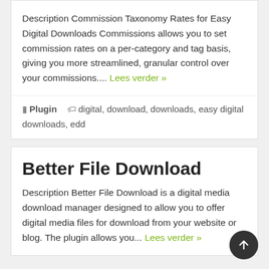Description Commission Taxonomy Rates for Easy Digital Downloads Commissions allows you to set commission rates on a per-category and tag basis, giving you more streamlined, granular control over your commissions.... Lees verder »
Plugin  digital, download, downloads, easy digital downloads, edd
Better File Download
Description Better File Download is a digital media download manager designed to allow you to offer digital media files for download from your website or blog. The plugin allows you... Lees verder »